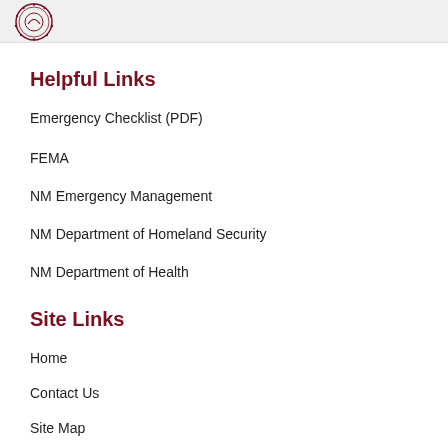Helpful Links
Emergency Checklist (PDF)
FEMA
NM Emergency Management
NM Department of Homeland Security
NM Department of Health
Site Links
Home
Contact Us
Site Map
Copyright Notices